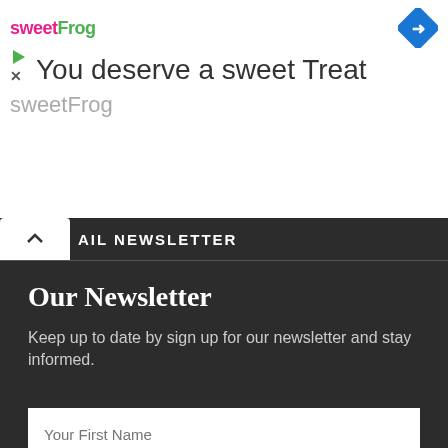[Figure (screenshot): SweetFrog advertisement banner with logo, play and close icons, headline 'You deserve a sweet Treat', and partially visible 'sweetFrog' text below]
AIL NEWSLETTER
Our Newsletter
Keep up to date by sign up for our newsletter and stay informed.
Your First Name
Your Email
SUBSCRIBE